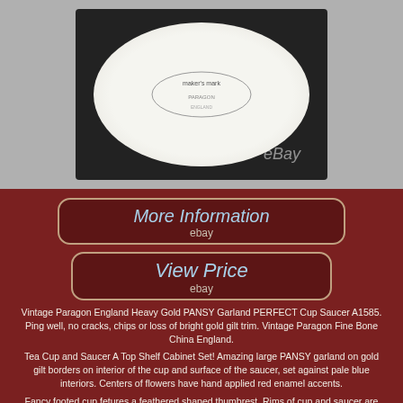[Figure (photo): Photo of the underside/back of a white china plate or saucer with a maker's mark stamp visible, shown against a dark background. eBay watermark visible.]
More Information
ebay
View Price
ebay
Vintage Paragon England Heavy Gold PANSY Garland PERFECT Cup Saucer A1585. Ping well, no cracks, chips or loss of bright gold gilt trim. Vintage Paragon Fine Bone China England.
Tea Cup and Saucer A Top Shelf Cabinet Set! Amazing large PANSY garland on gold gilt borders on interior of the cup and surface of the saucer, set against pale blue interiors. Centers of flowers have hand applied red enamel accents.
Fancy footed cup fetures a feathered shaped thumbrest. Rims of cup and saucer are slightly scalloped.
Trimmed in LOTS of bright gold gilt. Standard size cup and